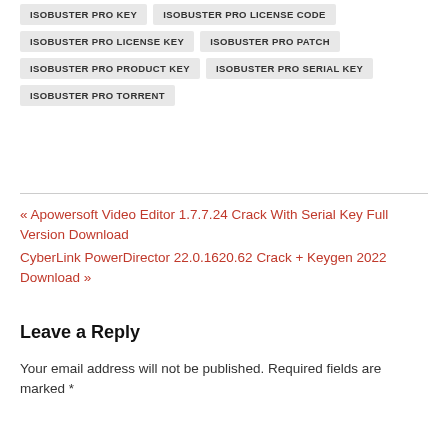ISOBUSTER PRO KEY
ISOBUSTER PRO LICENSE CODE
ISOBUSTER PRO LICENSE KEY
ISOBUSTER PRO PATCH
ISOBUSTER PRO PRODUCT KEY
ISOBUSTER PRO SERIAL KEY
ISOBUSTER PRO TORRENT
« Apowersoft Video Editor 1.7.7.24 Crack With Serial Key Full Version Download
CyberLink PowerDirector 22.0.1620.62 Crack + Keygen 2022 Download »
Leave a Reply
Your email address will not be published. Required fields are marked *